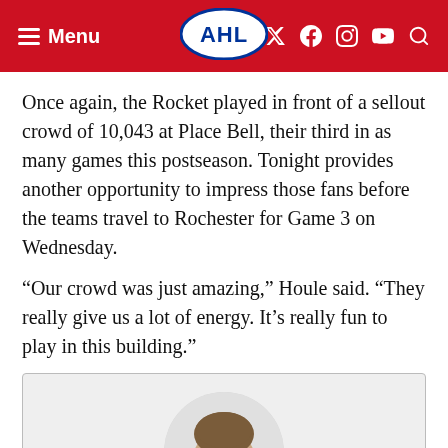Menu | AHL | social icons
Once again, the Rocket played in front of a sellout crowd of 10,043 at Place Bell, their third in as many games this postseason. Tonight provides another opportunity to impress those fans before the teams travel to Rochester for Game 3 on Wednesday.
“Our crowd was just amazing,” Houle said. “They really give us a lot of energy. It’s really fun to play in this building.”
[Figure (photo): Circular headshot photo of Patrick Williams, a man with short brown hair, against a light background, displayed inside a gray bio card.]
Patrick Williams